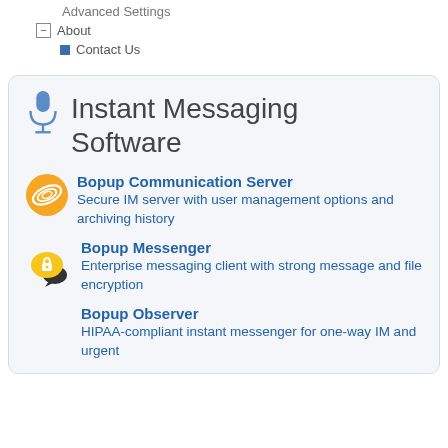Advanced Settings
About
Contact Us
Instant Messaging Software
Bopup Communication Server
Secure IM server with user management options and archiving history
Bopup Messenger
Enterprise messaging client with strong message and file encryption
Bopup Observer
HIPAA-compliant instant messenger for one-way IM and urgent messages